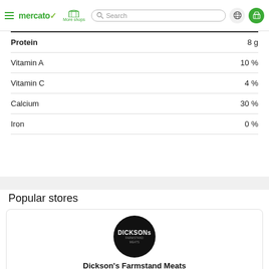mercato  More shops  Search
| Nutrient | Amount |
| --- | --- |
| Protein | 8 g |
| Vitamin A | 10 % |
| Vitamin C | 4 % |
| Calcium | 30 % |
| Iron | 0 % |
Popular stores
[Figure (logo): Dickson's Farmstand Meats circular black logo with white text]
Dickson's Farmstand Meats